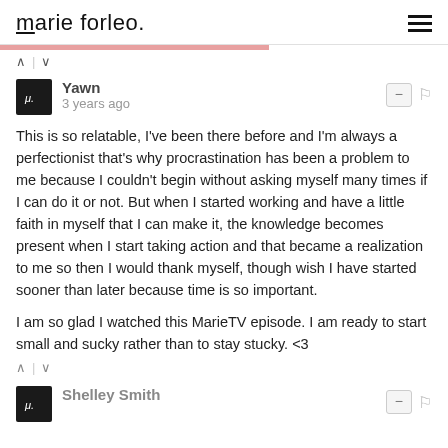marie forleo.
This is so relatable, I've been there before and I'm always a perfectionist that's why procrastination has been a problem to me because I couldn't begin without asking myself many times if I can do it or not. But when I started working and have a little faith in myself that I can make it, the knowledge becomes present when I start taking action and that became a realization to me so then I would thank myself, though wish I have started sooner than later because time is so important.

I am so glad I watched this MarieTV episode. I am ready to start small and sucky rather than to stay stucky. <3
Shelley Smith